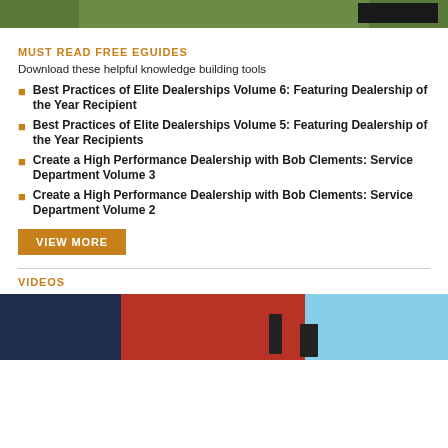[Figure (photo): Top cropped photo showing green grass or foliage with a dark block element]
MUST READ FREE EGUIDES
Download these helpful knowledge building tools
Best Practices of Elite Dealerships Volume 6: Featuring Dealership of the Year Recipient
Best Practices of Elite Dealerships Volume 5: Featuring Dealership of the Year Recipients
Create a High Performance Dealership with Bob Clements: Service Department Volume 3
Create a High Performance Dealership with Bob Clements: Service Department Volume 2
VIEW MORE
VIDEOS
[Figure (photo): Video thumbnail showing a person on the left side, a red piece of farm/outdoor equipment in the center, and blue sky on the right]